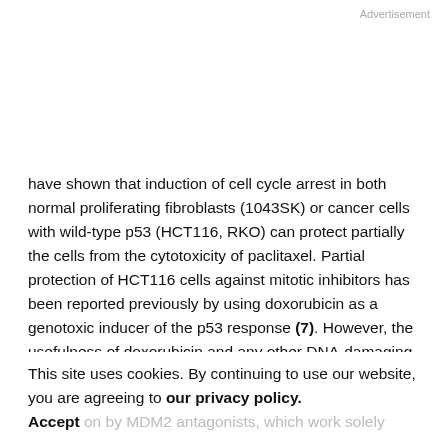Advertisement
have shown that induction of cell cycle arrest in both normal proliferating fibroblasts (1043SK) or cancer cells with wild-type p53 (HCT116, RKO) can protect partially the cells from the cytotoxicity of paclitaxel. Partial protection of HCT116 cells against mitotic inhibitors has been reported previously by using doxorubicin as a genotoxic inducer of the p53 response (7). However, the usefulness of doxorubicin and any other DNA-damaging agent is limited
This site uses cookies. By continuing to use our website, you are agreeing to our privacy policy. Accept
protection by MDM2 antagonists, which work solely